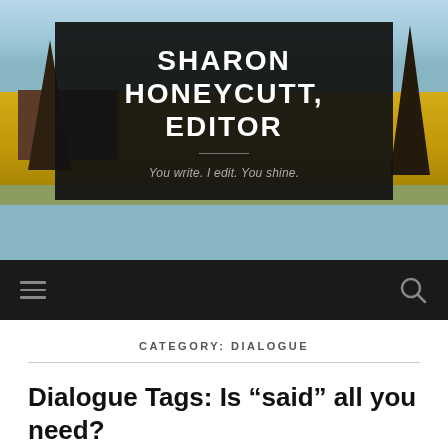[Figure (screenshot): Website header for Sharon Honeycutt Editor blog. Dark overlay on background photo of yellow field, trees, and building. Shows site title and tagline.]
SHARON HONEYCUTT, EDITOR
You write. I edit. You shine.
CATEGORY: DIALOGUE
Dialogue Tags: Is “said” all you need?
JULY 7, 2018